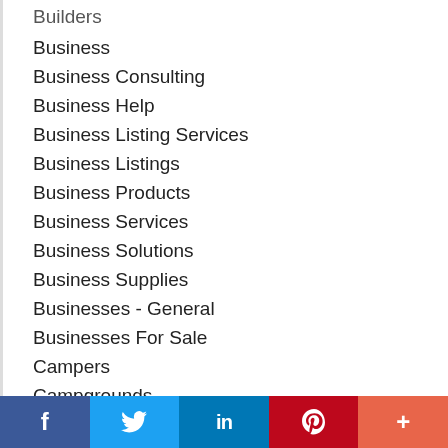Builders
Business
Business Consulting
Business Help
Business Listing Services
Business Listings
Business Products
Business Services
Business Solutions
Business Supplies
Businesses - General
Businesses For Sale
Campers
Campgrounds
[Figure (infographic): Social sharing bar with Facebook (blue), Twitter (light blue), LinkedIn (dark blue), Pinterest (red), and More (orange-red) buttons]